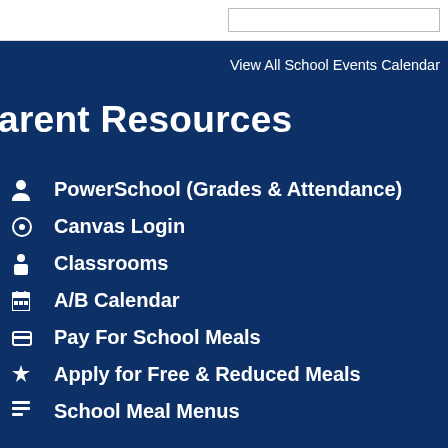View All School Events Calendar
arent Resources
PowerSchool (Grades & Attendance)
Canvas Login
Classrooms
A/B Calendar
Pay For School Meals
Apply for Free & Reduced Meals
School Meal Menus